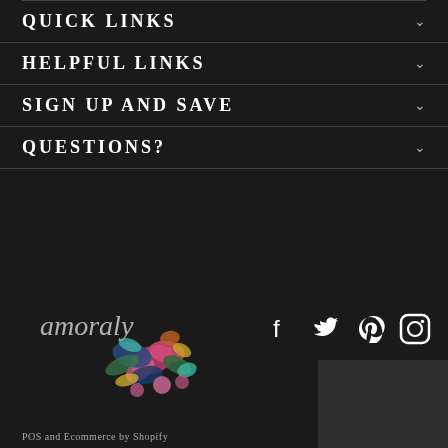QUICK LINKS
HELPFUL LINKS
SIGN UP AND SAVE
QUESTIONS?
[Figure (logo): Amoraly script logo with watercolor floral arrangement]
[Figure (illustration): Social media icons: Facebook, Twitter, Pinterest, Instagram]
POS and Ecommerce by Shopify